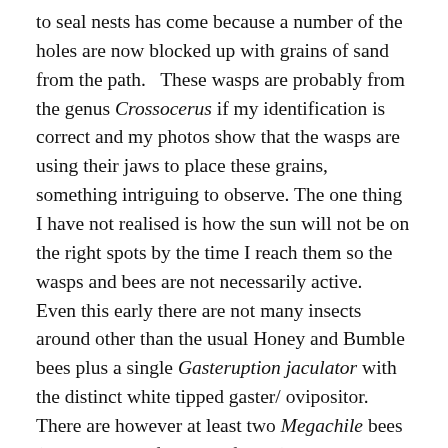to seal nests has come because a number of the holes are now blocked up with grains of sand from the path.   These wasps are probably from the genus Crossocerus if my identification is correct and my photos show that the wasps are using their jaws to place these grains, something intriguing to observe.  The one thing I have not realised is how the sun will not be on the right spots by the time I reach them so the wasps and bees are not necessarily active.  Even this early there are not many insects around other than the usual Honey and Bumble bees plus a single Gasteruption jaculator with the distinct white tipped gaster/ ovipositor.  There are however at least two Megachile bees (or rather bees from that family) that are active, one is the same as the one I was on the 23rd with the golden-yellow underside and the other is bigger and what I think of as more Megachile like with its broad abdomen